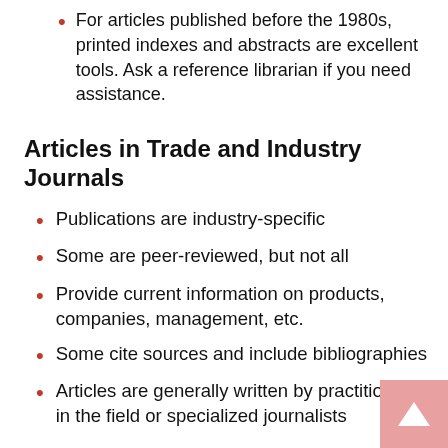For articles published before the 1980s, printed indexes and abstracts are excellent tools. Ask a reference librarian if you need assistance.
Articles in Trade and Industry Journals
Publications are industry-specific
Some are peer-reviewed, but not all
Provide current information on products, companies, management, etc.
Some cite sources and include bibliographies
Articles are generally written by practitioners in the field or specialized journalists